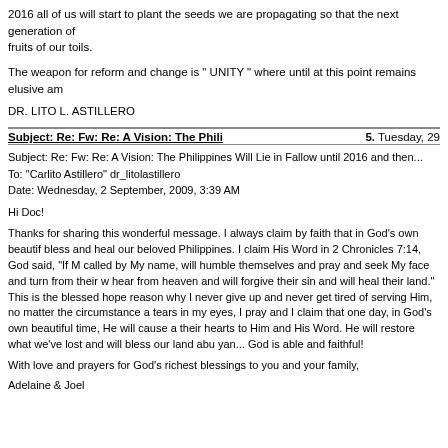2016 all of us will start to plant the seeds we are propagating so that the next generation of fruits of our toils.
The weapon for reform and change is " UNITY " where until at this point remains elusive am
DR. LITO L. ASTILLERO
Subject: Re: Fw: Re: A Vision: The Phili    5. Tuesday, 29
Subject: Re: Fw: Re: A Vision: The Philippines Will Lie in Fallow until 2016 and then...
To: "Carlito Astillero" dr_litolastillero
Date: Wednesday, 2 September, 2009, 3:39 AM
Hi Doc!
Thanks for sharing this wonderful message. I always claim by faith that in God's own beautif bless and heal our beloved Philippines. I claim His Word in 2 Chronicles 7:14, God said, "If M called by My name, will humble themselves and pray and seek My face and turn from their w hear from heaven and will forgive their sin and will heal their land." This is the blessed hope reason why I never give up and never get tired of serving Him, no matter the circumstance a tears in my eyes, I pray and I claim that one day, in God's own beautiful time, He will cause a their hearts to Him and His Word. He will restore what we've lost and will bless our land abu yan... God is able and faithful!
With love and prayers for God's richest blessings to you and your family,
Adelaine & Joel